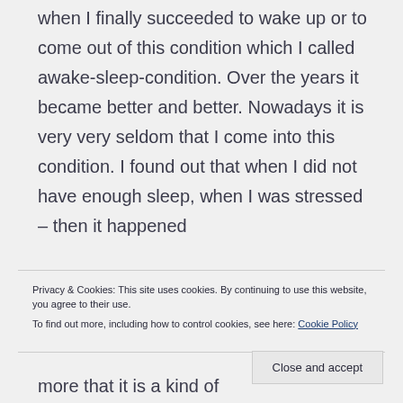when I finally succeeded to wake up or to come out of this condition which I called awake-sleep-condition. Over the years it became better and better. Nowadays it is very very seldom that I come into this condition. I found out that when I did not have enough sleep, when I was stressed – then it happened
Privacy & Cookies: This site uses cookies. By continuing to use this website, you agree to their use.
To find out more, including how to control cookies, see here: Cookie Policy
Close and accept
more that it is a kind of